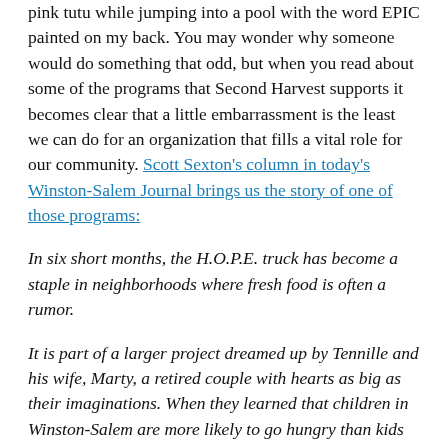pink tutu while jumping into a pool with the word EPIC painted on my back. You may wonder why someone would do something that odd, but when you read about some of the programs that Second Harvest supports it becomes clear that a little embarrassment is the least we can do for an organization that fills a vital role for our community. Scott Sexton's column in today's Winston-Salem Journal brings us the story of one of those programs:
In six short months, the H.O.P.E. truck has become a staple in neighborhoods where fresh food is often a rumor.
It is part of a larger project dreamed up by Tennille and his wife, Marty, a retired couple with hearts as big as their imaginations. When they learned that children in Winston-Salem are more likely to go hungry than kids in Detroit or Chicago, they were horrified.
But instead of wringing their hands, stamping their feet in